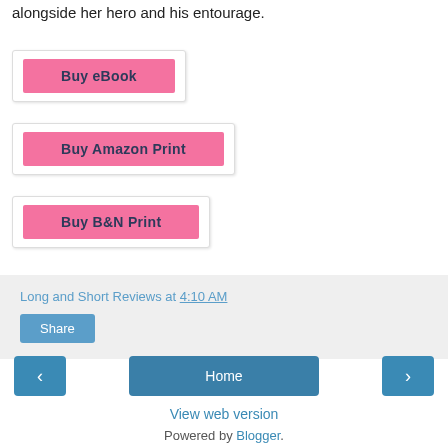alongside her hero and his entourage.
[Figure (other): Pink 'Buy eBook' button inside a white rounded box with shadow]
[Figure (other): Pink 'Buy Amazon Print' button inside a white rounded box with shadow]
[Figure (other): Pink 'Buy B&N Print' button inside a white rounded box with shadow]
Long and Short Reviews at 4:10 AM
[Figure (other): Blue 'Share' button]
[Figure (other): Navigation row with left arrow, Home button, right arrow]
View web version
Powered by Blogger.